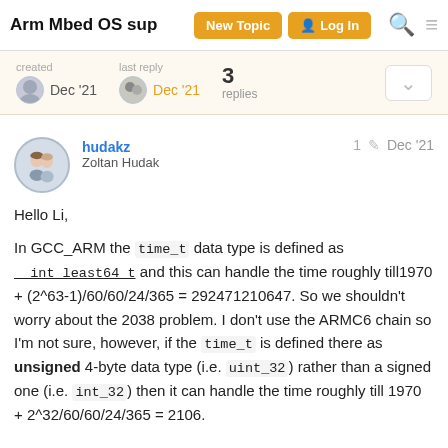Arm Mbed OS sup | New Topic | Log In
created Dec '21  last reply Dec '21  3 replies
hudakz Zoltan Hudak  1  Dec '21
Hello Li,

In GCC_ARM the time_t data type is defined as __int_least64_t and this can handle the time roughly till1970 + (2^63-1)/60/60/24/365 = 292471210647. So we shouldn't worry about the 2038 problem. I don't use the ARMC6 chain so I'm not sure, however, if the time_t is defined there as unsigned 4-byte data type (i.e. uint_32) rather than a signed one (i.e. int_32) then it can handle the time roughly till 1970 + 2^32/60/60/24/365 = 2106.